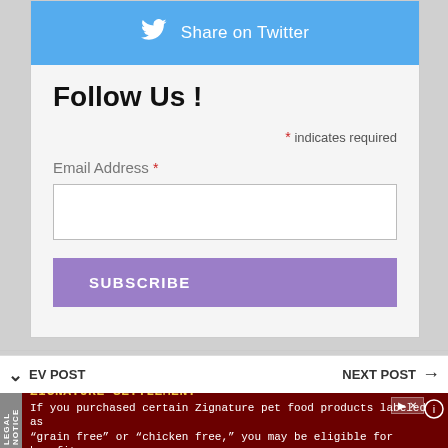[Figure (screenshot): Twitter Share button with bird icon and text 'Share on Twitter' on blue background]
Follow Us !
* indicates required
Email Address *
SUBSCRIBE
EV POST
NEXT POST
ZIGNATURE SETTLEMENT If you purchased certain Zignature pet food products labeled as "grain free" or "chicken free," you may be eligible for benefits